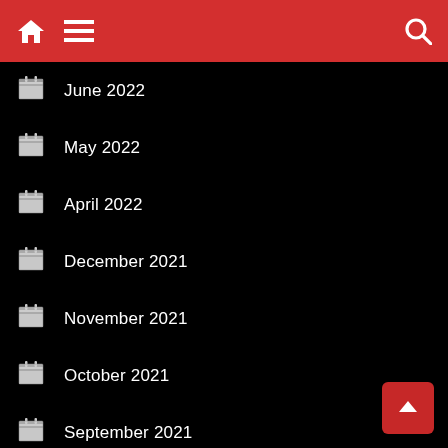Navigation bar with home, menu, and search icons
June 2022
May 2022
April 2022
December 2021
November 2021
October 2021
September 2021
August 2021
July 2021
June 2021
May 2021